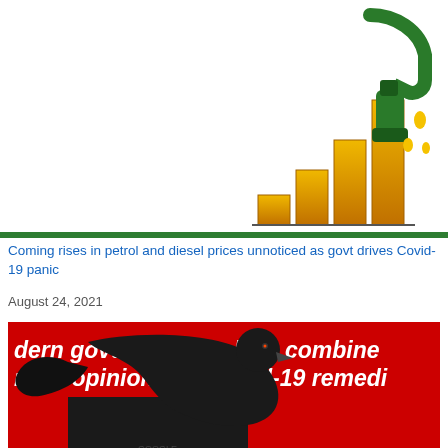t's Carbon Trading eme begins to bite
[Figure (illustration): Bar chart with rising golden/orange bars and a green fuel pump nozzle dripping yellow droplets on white background]
Coming rises in petrol and diesel prices unnoticed as govt drives Covid-19 panic
August 24, 2021
[Figure (illustration): Red background image with white bold italic text reading 'dern govt & media allies combine ntrol opinions on Covid-19 remedi' at top, and 'Enthusiastically a by politicised po' on the right, and a black silhouette of a figure being crushed under a giant black boot on the left]
The arrest of Billy TK Jnr
August 22, 2021